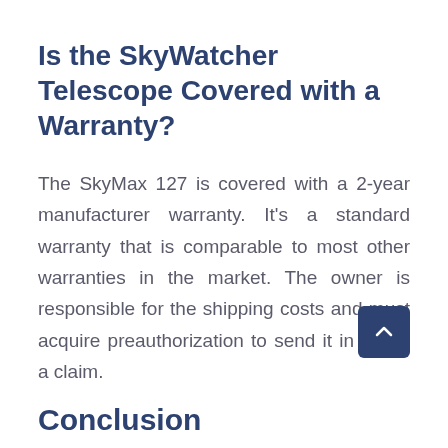Is the SkyWatcher Telescope Covered with a Warranty?
The SkyMax 127 is covered with a 2-year manufacturer warranty. It’s a standard warranty that is comparable to most other warranties in the market. The owner is responsible for the shipping costs and must acquire preauthorization to send it in under a claim.
Conclusion